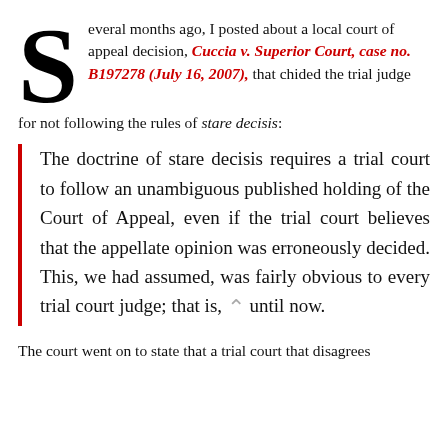Several months ago, I posted about a local court of appeal decision, Cuccia v. Superior Court, case no. B197278 (July 16, 2007), that chided the trial judge for not following the rules of stare decisis:
The doctrine of stare decisis requires a trial court to follow an unambiguous published holding of the Court of Appeal, even if the trial court believes that the appellate opinion was erroneously decided. This, we had assumed, was fairly obvious to every trial court judge; that is, until now.
The court went on to state that a trial court that disagrees